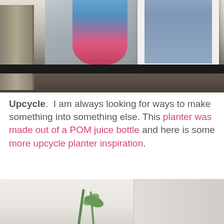[Figure (photo): Photo of a shelf with framed pictures: a large unframed photo of a child in a pink tub/wagon, and a white-framed portrait of a boy with glasses and arms crossed, plus a decorative mirror/frame on the left.]
Upcycle.  I am always looking for ways to make something into something else. This planter was made out of a POM juice bottle and here is some more upcycle planter inspiration.
[Figure (photo): Partial photo showing a plant with green leaves against a light beige/cream background, with what appears to be a container or vase on the right side.]